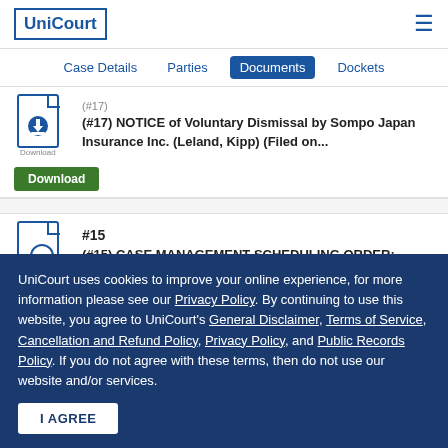UniCourt
Case Details | Parties | Documents | Dockets
(#17) NOTICE of Voluntary Dismissal by Sompo Japan Insurance Inc. (Leland, Kipp) (Filed on...
Download
#15
(#15) CASE MANAGEMENT SCHEDULING ORDER:
UniCourt uses cookies to improve your online experience, for more information please see our Privacy Policy. By continuing to use this website, you agree to UniCourt's General Disclaimer, Terms of Service, Cancellation and Refund Policy, Privacy Policy, and Public Records Policy. If you do not agree with these terms, then do not use our website and/or services.
I AGREE